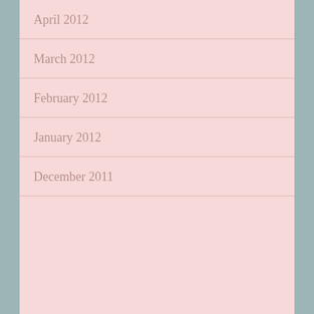April 2012
March 2012
February 2012
January 2012
December 2011
Categories
52 Weeks of Abundant Genealogy (3)
Advent Calendar – Genealogy (7)
Carson (1)